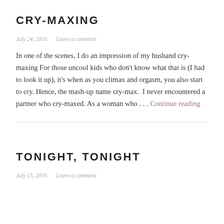CRY-MAXING
July 24, 2016   Leave a comment
In one of the scenes, I do an impression of my husband cry-maxing For those uncool kids who don't know what that is (I had to look it up), it's when as you climax and orgasm, you also start to cry. Hence, the mash-up name cry-max.  I never encountered a partner who cry-maxed. As a woman who . . . Continue reading
TONIGHT, TONIGHT
July 15, 2016   Leave a comment